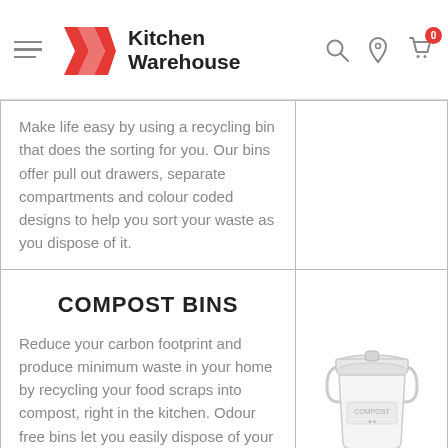Kitchen Warehouse
Make life easy by using a recycling bin that does the sorting for you. Our bins offer pull out drawers, separate compartments and colour coded designs to help you sort your waste as you dispose of it.
[Figure (illustration): White compost bucket/bin product image]
COMPOST BINS
Reduce your carbon footprint and produce minimum waste in your home by recycling your food scraps into compost, right in the kitchen. Odour free bins let you easily dispose of your food waste directly into the bin, which uses special design features to turn the food into fertilizer that you